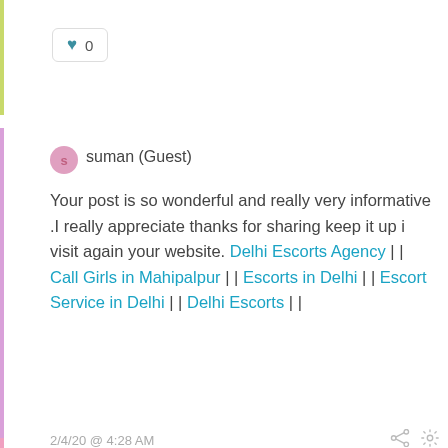♥ 0
suman (Guest)
Your post is so wonderful and really very informative .I really appreciate thanks for sharing keep it up i visit again your website. Delhi Escorts Agency || Call Girls in Mahipalpur || Escorts in Delhi || Escort Service in Delhi || Delhi Escorts ||
2/4/20 @ 4:28 AM
♥ 0